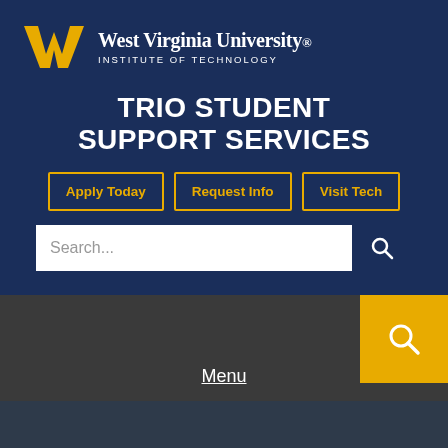[Figure (logo): West Virginia University flying WV logo mark in gold/yellow]
West Virginia University INSTITUTE OF TECHNOLOGY
TRIO STUDENT SUPPORT SERVICES
Apply Today
Request Info
Visit Tech
Search...
Menu